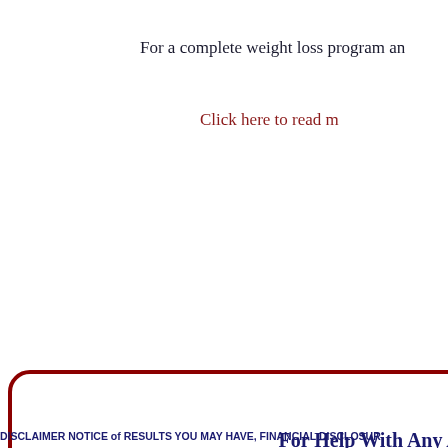For a complete weight loss program an
Click here to read m
For Help With Any Aspect of t
help AT pr
T
DISCLAIMER NOTICE of RESULTS YOU MAY HAVE, FINANCIAL DISCLOSUR